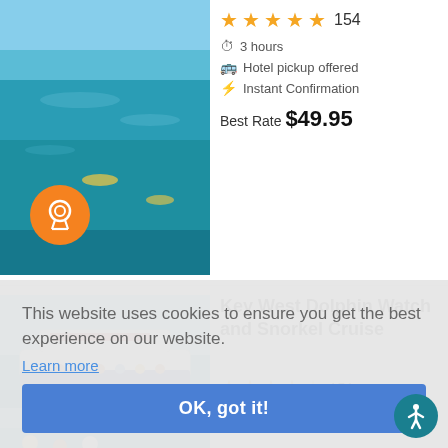[Figure (photo): Aerial view of snorkelers in turquoise ocean water with orange award badge overlay]
★★★★★ 154
⏱ 3 hours
🚌 Hotel pickup offered
⚡ Instant Confirmation
Best Rate $49.95
[Figure (photo): Blue and white tour boat with passengers in blue-green water]
Key West Dolphin Watch and Snorkel Cruise
★★★★½ 151
⏱ 3 hours
This website uses cookies to ensure you get the best experience on our website.
Learn more
OK, got it!
[Figure (photo): Partial view of third listing with people and blue water]
20